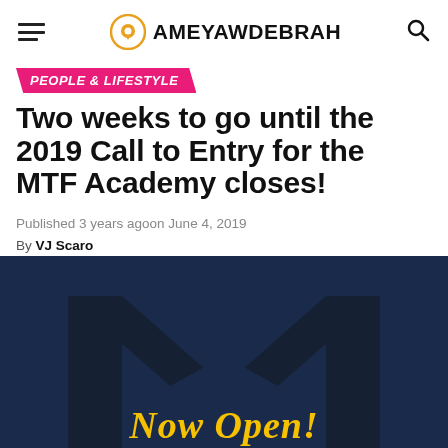AMEYAWDEBRAH
PEOPLE & LIFESTYLE
Two weeks to go until the 2019 Call to Entry for the MTF Academy closes!
Published 3 years ago on June 4, 2019
By VJ Scaro
[Figure (illustration): MTF Academy promotional image with dark navy blue large M logo shape and yellow cursive text reading 'Now Open!' on a dark navy background]